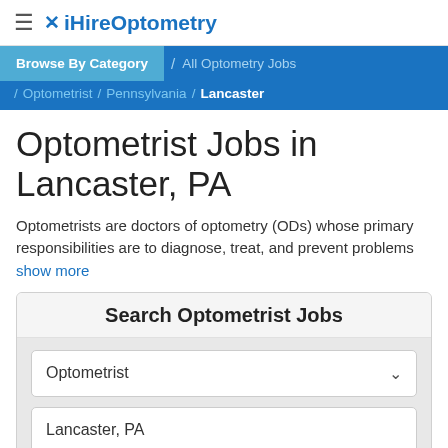≡ iHireOptometry
Browse By Category / All Optometry Jobs / Optometrist / Pennsylvania / Lancaster
Optometrist Jobs in Lancaster, PA
Optometrists are doctors of optometry (ODs) whose primary responsibilities are to diagnose, treat, and prevent problems
show more
Search Optometrist Jobs
Optometrist
Lancaster, PA